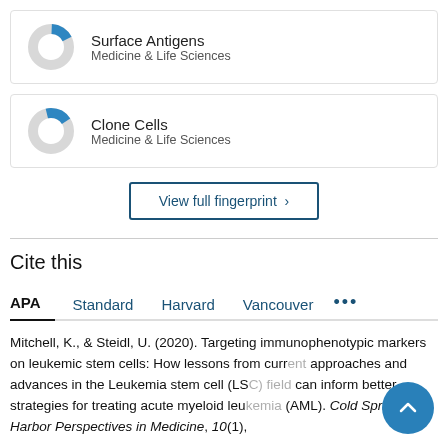[Figure (donut-chart): Donut chart for Surface Antigens, small blue filled arc on top-left, mostly grey ring]
Surface Antigens
Medicine & Life Sciences
[Figure (donut-chart): Donut chart for Clone Cells, small blue filled arc on top, mostly grey ring]
Clone Cells
Medicine & Life Sciences
View full fingerprint ›
Cite this
APA   Standard   Harvard   Vancouver   •••
Mitchell, K., & Steidl, U. (2020). Targeting immunophenotypic markers on leukemic stem cells: How lessons from current approaches and advances in the Leukemia stem cell (LSC) field can inform better strategies for treating acute myeloid leukemia (AML). Cold Spring Harbor Perspectives in Medicine, 10(1),